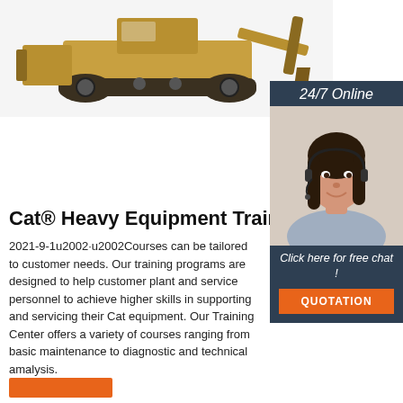[Figure (photo): Yellow Cat bulldozer/heavy equipment on white background, viewed from the side]
[Figure (photo): Sidebar with '24/7 Online' label, photo of female customer service agent with headset smiling, 'Click here for free chat!' text, and orange QUOTATION button]
Cat® Heavy Equipment Train
2021-9-1u2002·u2002Courses can be tailored to customer needs. Our training programs are designed to help customer plant and service personnel to achieve higher skills in supporting and servicing their Cat equipment. Our Training Center offers a variety of courses ranging from basic maintenance to diagnostic and technical amalysis.